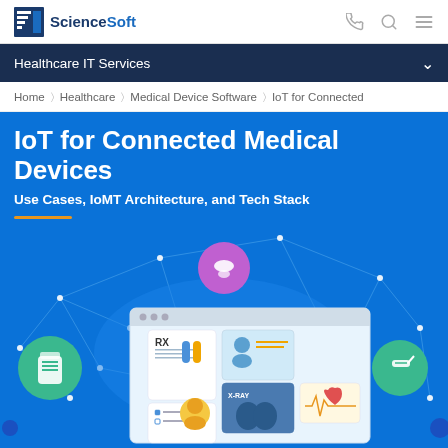ScienceSoft
Healthcare IT Services
Home > Healthcare > Medical Device Software > IoT for Connected
IoT for Connected Medical Devices
Use Cases, IoMT Architecture, and Tech Stack
[Figure (illustration): Hero illustration showing a connected medical IoT dashboard interface with icons for prescription (RX), medical records, patient information, X-ray, wearable health monitoring with heartbeat chart, pill/medication icons. Network connectivity lines and nodes shown on blue background. Circular icons showing medical devices connected via IoT network.]